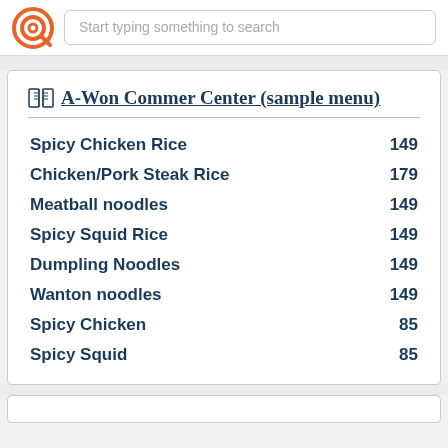Start typing something to search
A-Won Commer Center (sample menu)
| Item | Price |
| --- | --- |
| Spicy Chicken Rice | 149 |
| Chicken/Pork Steak Rice | 179 |
| Meatball noodles | 149 |
| Spicy Squid Rice | 149 |
| Dumpling Noodles | 149 |
| Wanton noodles | 149 |
| Spicy Chicken | 85 |
| Spicy Squid | 85 |